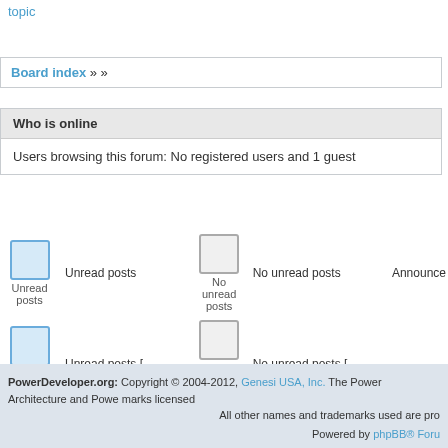topic
Board index » »
Who is online
Users browsing this forum: No registered users and 1 guest
Unread posts | Unread posts | No unread posts | No unread posts | Announce
Unread posts [ Popular ] | Unread posts [ Popular ] | No unread posts [ Popular ] | No unread posts [ Popular ] | Sticky
Unread posts [ Locked ] | Unread posts [ Locked ] | No unread posts [ Locked ] | No unread posts [ Locked ] | Moved topic
Search for:
PowerDeveloper.org: Copyright © 2004-2012, Genesi USA, Inc. The Power Architecture and Power marks licensed All other names and trademarks used are pro Powered by phpBB® Forum